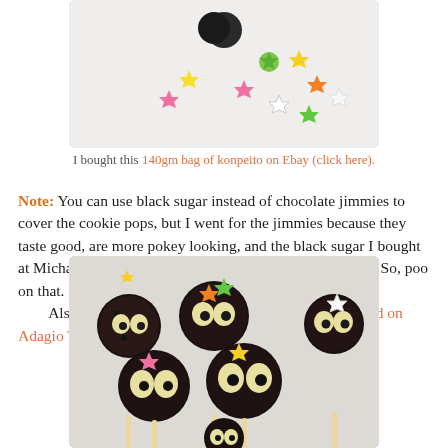[Figure (photo): Photo of colorful konpeito (Japanese star-shaped sugar candy) in pink, green, yellow, orange, and white colors scattered on a white surface.]
I bought this 140gm bag of konpeito on Ebay (click here).
Note: You can use black sugar instead of chocolate jimmies to cover the cookie pops, but I went for the jimmies because they taste good, are more pokey looking, and the black sugar I bought at Michael's was actually dark green when I poured it out. So, poo on that.
        Also, FYI, check out my soot sprite inspired tea blend on Adagio Teas!
[Figure (photo): Photo of multiple soot sprite cookie pops covered in chocolate jimmies, decorated with large candy eyes and colorful konpeito sugar stars, displayed on a white plate with sticks.]